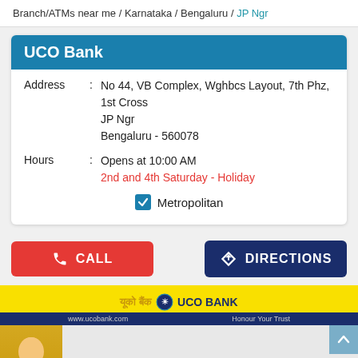Branch/ATMs near me / Karnataka / Bengaluru / JP Ngr
UCO Bank
Address : No 44, VB Complex, Wghbcs Layout, 7th Phz, 1st Cross
JP Ngr
Bengaluru - 560078
Hours : Opens at 10:00 AM
2nd and 4th Saturday - Holiday
Metropolitan
CALL
DIRECTIONS
[Figure (screenshot): UCO Bank advertisement banner with yellow background showing 'Digital Banking Karo, Safe Raho! Stay Home | Stay Safe' text and a woman in yellow outfit looking at phone]